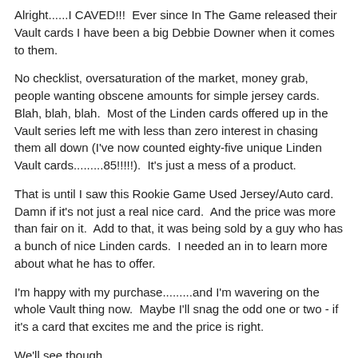Alright......I CAVED!!!  Ever since In The Game released their Vault cards I have been a big Debbie Downer when it comes to them.
No checklist, oversaturation of the market, money grab, people wanting obscene amounts for simple jersey cards.  Blah, blah, blah.  Most of the Linden cards offered up in the Vault series left me with less than zero interest in chasing them all down (I've now counted eighty-five unique Linden Vault cards.........85!!!!!).  It's just a mess of a product.
That is until I saw this Rookie Game Used Jersey/Auto card.  Damn if it's not just a real nice card.  And the price was more than fair on it.  Add to that, it was being sold by a guy who has a bunch of nice Linden cards.  I needed an in to learn more about what he has to offer.
I'm happy with my purchase.........and I'm wavering on the whole Vault thing now.  Maybe I'll snag the odd one or two - if it's a card that excites me and the price is right.
We'll see though.